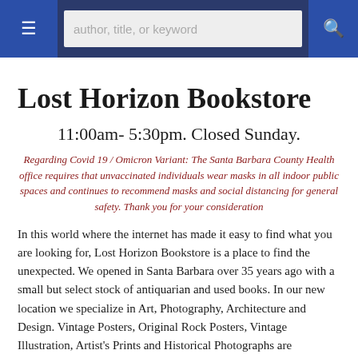author, title, or keyword
Lost Horizon Bookstore
11:00am- 5:30pm. Closed Sunday.
Regarding Covid 19 / Omicron Variant: The Santa Barbara County Health office requires that unvaccinated individuals wear masks in all indoor public spaces and continues to recommend masks and social distancing for general safety. Thank you for your consideration
In this world where the internet has made it easy to find what you are looking for, Lost Horizon Bookstore is a place to find the unexpected. We opened in Santa Barbara over 35 years ago with a small but select stock of antiquarian and used books. In our new location we specialize in Art, Photography, Architecture and Design. Vintage Posters, Original Rock Posters, Vintage Illustration, Artist's Prints and Historical Photographs are